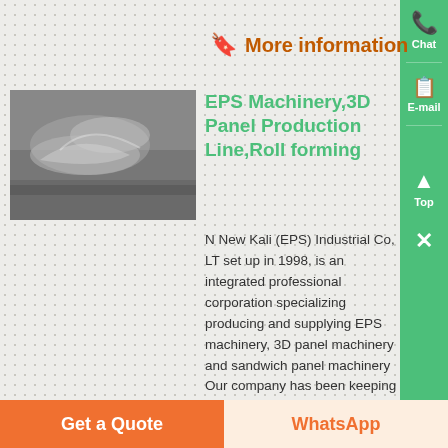More information
[Figure (photo): Industrial machinery photo showing EPS material processing equipment]
EPS Machinery,3D Panel Production Line,Roll forming
N New Kali (EPS) Industrial Co, LT set up in 1998, is an integrated professional corporation specializing producing and supplying EPS machinery, 3D panel machinery and sandwich panel machinery Our company has been keeping fast development and rise on exporting sale every year through science innovation and exploiting international market in the past about 20 years
Get a Quote
WhatsApp